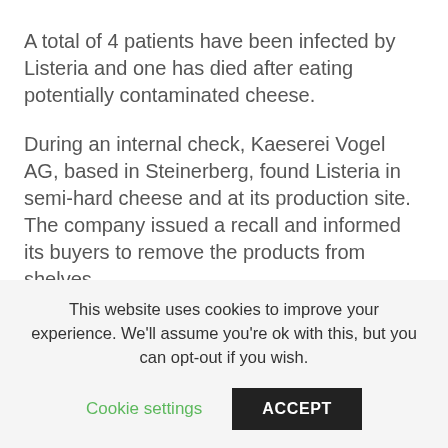A total of 4 patients have been infected by Listeria and one has died after eating potentially contaminated cheese.
During an internal check, Kaeserei Vogel AG, based in Steinerberg, found Listeria in semi-hard cheese and at its production site. The company issued a recall and informed its buyers to remove the products from shelves.
A diagnosis of invasive listeriosis infection was made in four patients. Three of the people have recovered but one person with underlying health conditions has died.
Kaeserei Vogel informed the Federal Food Safety and Veterinary Office (FSVO) in Switzerland about the
This website uses cookies to improve your experience. We'll assume you're ok with this, but you can opt-out if you wish.
Cookie settings
ACCEPT